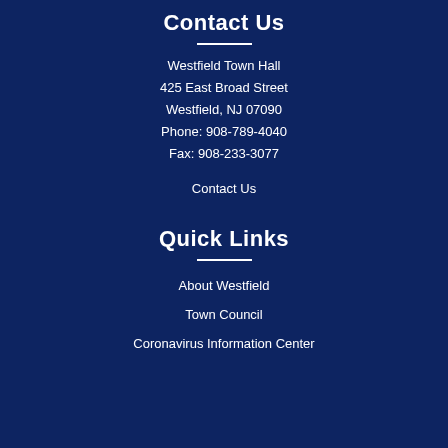Contact Us
Westfield Town Hall
425 East Broad Street
Westfield, NJ 07090
Phone: 908-789-4040
Fax: 908-233-3077
Contact Us
Quick Links
About Westfield
Town Council
Coronavirus Information Center